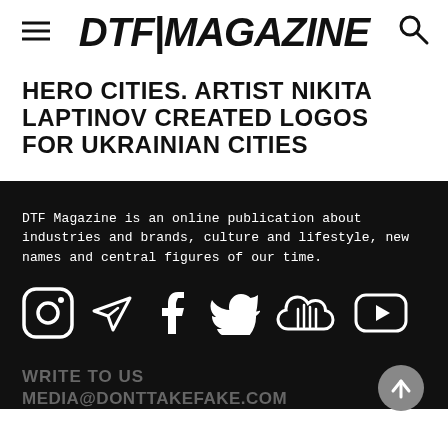DTF|MAGAZINE
HERO CITIES. ARTIST NIKITA LAPTINOV CREATED LOGOS FOR UKRAINIAN CITIES
DTF Magazine is an online publication about industries and brands, culture and lifestyle, new names and central figures of our time.
[Figure (illustration): Social media icons: Instagram, Telegram, Facebook, Twitter, SoundCloud, YouTube]
WRITE TO US
MEDIA@DONTTAKEFAKE.COM